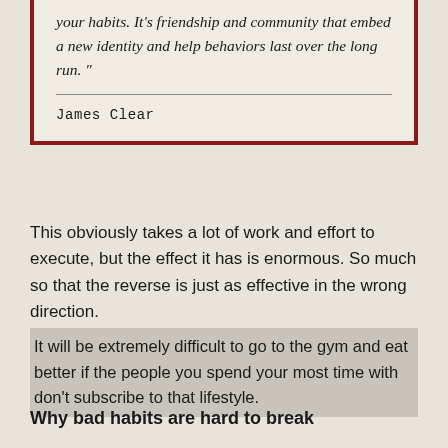your habits. It's friendship and community that embed a new identity and help behaviors last over the long run."
James Clear
This obviously takes a lot of work and effort to execute, but the effect it has is enormous. So much so that the reverse is just as effective in the wrong direction.
It will be extremely difficult to go to the gym and eat better if the people you spend your most time with don't subscribe to that lifestyle.
Why bad habits are hard to break